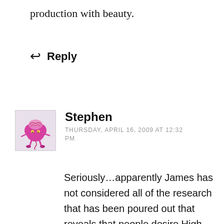production with beauty.
↩ Reply
[Figure (illustration): Avatar of commenter Stephen: cartoon pink brain-shaped creature with legs and arms]
Stephen
THURSDAY, APRIL 16, 2009 AT 12:32 PM
Seriously…apparently James has not considered all of the research that has been poured out that reveals that people desire High Expectations (a la Rainer's text) and do not want shallow sermons nor shallow